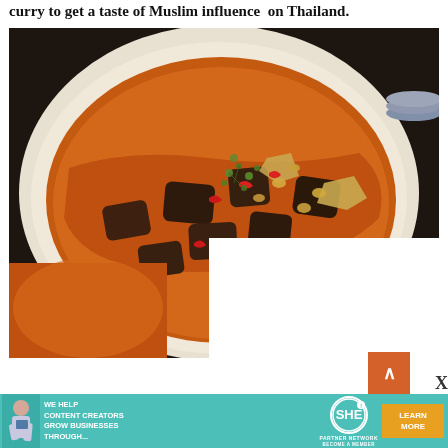curry to get a taste of Muslim influence on Thailand.
[Figure (photo): A white bowl filled with a rich orange-red Thai Muslim curry, containing chunks of meat, potatoes, and vegetables, garnished with fresh herbs and red chili slices, with peanuts scattered on top. The bowl sits on a dark wooden surface.]
[Figure (infographic): An advertisement banner for SHE Media Partner Network in teal/turquoise color, featuring a woman with a tablet, text reading 'WE HELP CONTENT CREATORS GROW BUSINESSES THROUGH...' along with the SHE Partner Network logo and a 'LEARN MORE / BECOME A MEMBER' button in orange.]